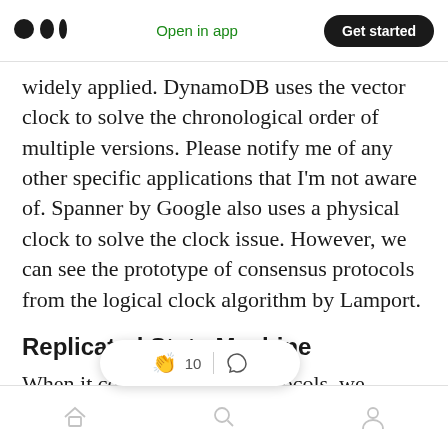Medium app header with logo, Open in app, Get started button
widely applied. DynamoDB uses the vector clock to solve the chronological order of multiple versions. Please notify me of any other specific applications that I'm not aware of. Spanner by Google also uses a physical clock to solve the clock issue. However, we can see the prototype of consensus protocols from the logical clock algorithm by Lamport.
Replicated State Machine
When it comes to consensus protocols, we usually talk about machine replication.
Bottom navigation bar with home, search, and profile icons